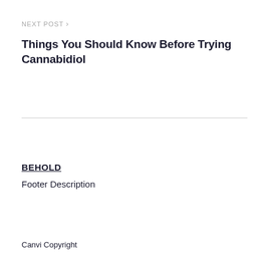NEXT POST >
Things You Should Know Before Trying Cannabidiol
BEHOLD
Footer Description
Canvi Copyright